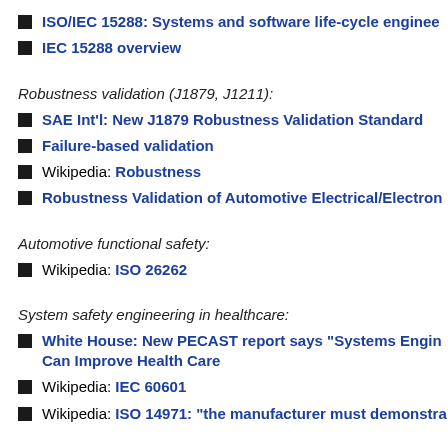ISO/IEC 15288: Systems and software life-cycle enginee…
IEC 15288 overview
Robustness validation (J1879, J1211):
SAE Int'l: New J1879 Robustness Validation Standard
Failure-based validation
Wikipedia: Robustness
Robustness Validation of Automotive Electrical/Electron…
Automotive functional safety:
Wikipedia: ISO 26262
System safety engineering in healthcare:
White House: New PECAST report says "Systems Engin… Can Improve Health Care
Wikipedia: IEC 60601
Wikipedia: ISO 14971: "the manufacturer must demonstra…